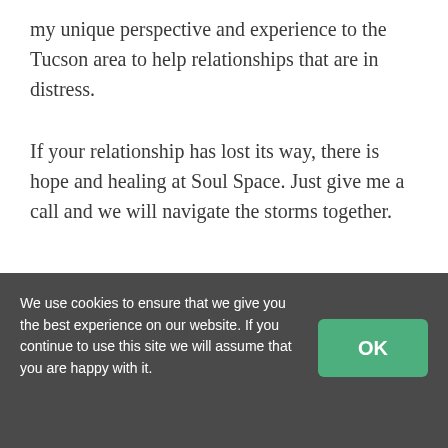my unique perspective and experience to the Tucson area to help relationships that are in distress.
If your relationship has lost its way, there is hope and healing at Soul Space. Just give me a call and we will navigate the storms together.
We use cookies to ensure that we give you the best experience on our website. If you continue to use this site we will assume that you are happy with it.